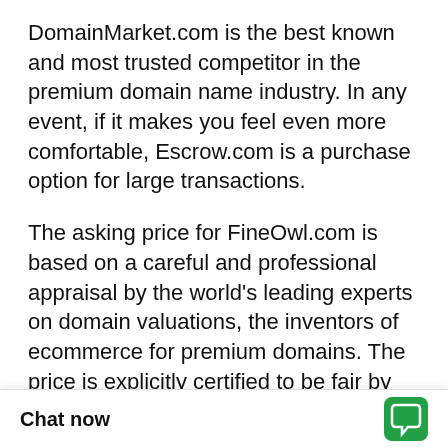DomainMarket.com is the best known and most trusted competitor in the premium domain name industry. In any event, if it makes you feel even more comfortable, Escrow.com is a purchase option for large transactions.
The asking price for FineOwl.com is based on a careful and professional appraisal by the world's leading experts on domain valuations, the inventors of ecommerce for premium domains. The price is explicitly certified to be fair by real experts, so the buyer can be confident in the great long-term value and investment opportunity for the unique domain asset in question.
Your competition for a great domain, and therefore your opportunity to arbitrage or capitalize, is even greater than your nor[mal...] [text cut off]